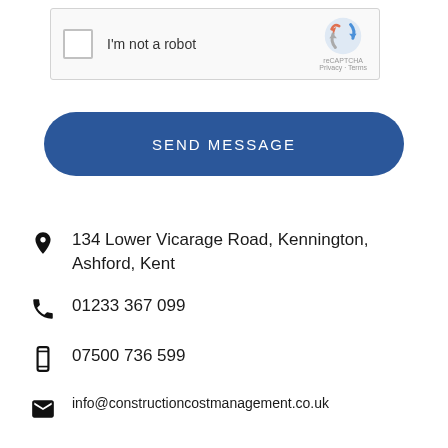[Figure (screenshot): reCAPTCHA widget showing a checkbox, 'I'm not a robot' label, and the reCAPTCHA logo with Privacy and Terms links]
SEND MESSAGE
134 Lower Vicarage Road, Kennington, Ashford, Kent
01233 367 099
07500 736 599
info@constructioncostmanagement.co.uk